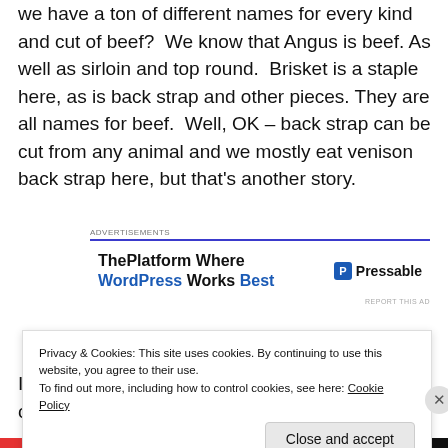we have a ton of different names for every kind and cut of beef?  We know that Angus is beef. As well as sirloin and top round.  Brisket is a staple here, as is back strap and other pieces. They are all names for beef.  Well, OK – back strap can be cut from any animal and we mostly eat venison back strap here, but that's another story.
[Figure (other): Advertisement banner: 'ThePlatform Where WordPress Works Best' with Pressable logo]
In Spain, they have the same sort of thing going on for
Privacy & Cookies: This site uses cookies. By continuing to use this website, you agree to their use.
To find out more, including how to control cookies, see here: Cookie Policy